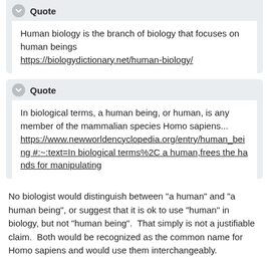Quote
Human biology is the branch of biology that focuses on human beings
https://biologydictionary.net/human-biology/
Quote
In biological terms, a human being, or human, is any member of the mammalian species Homo sapiens...
https://www.newworldencyclopedia.org/entry/human_being #:~:text=In biological terms%2C a human,frees the hands for manipulating
No biologist would distinguish between "a human" and "a human being", or suggest that it is ok to use "human" in biology, but not "human being".  That simply is not a justifiable claim.  Both would be recognized as the common name for Homo sapiens and would use them interchangeably.
To put it as simple as possible - "Human being" is a type of